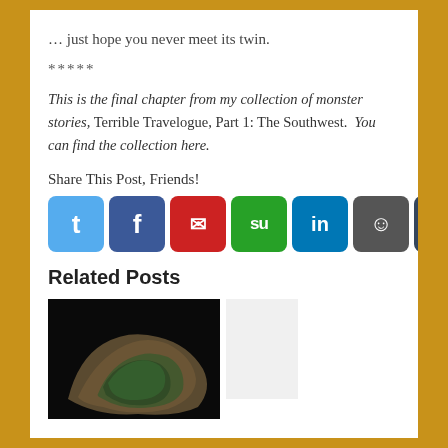… just hope you never meet its twin.
*****
This is the final chapter from my collection of monster stories, Terrible Travelogue, Part 1: The Southwest.  You can find the collection here.
Share This Post, Friends!
[Figure (infographic): Row of seven social media share buttons: Twitter (blue, t), Facebook (dark blue, f), Email (red, envelope M), StumbleUpon (green, su), LinkedIn (blue, in), Reddit (dark gray, alien), Tumblr (dark blue/slate, t)]
Related Posts
[Figure (photo): Photo of a dark rock or mineral specimen with greenish hues on a black background, partially visible at bottom of page]